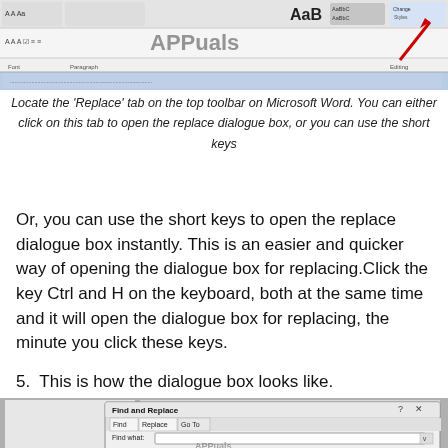[Figure (screenshot): Microsoft Word toolbar showing the Replace button with a red arrow pointing to it]
Locate the 'Replace' tab on the top toolbar on Microsoft Word. You can either click on this tab to open the replace dialogue box, or you can use the short keys
Or, you can use the short keys to open the replace dialogue box instantly. This is an easier and quicker way of opening the dialogue box for replacing.Click the key Ctrl and H on the keyboard, both at the same time and it will open the dialogue box for replacing, the minute you click these keys.
5. This is how the dialogue box looks like.
[Figure (screenshot): Microsoft Word Find and Replace dialogue box showing Find, Replace, and Go To tabs with Find what input field]